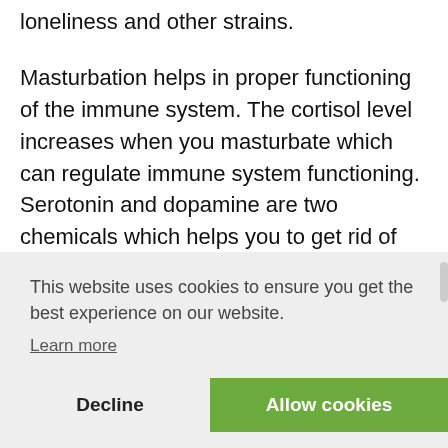loneliness and other strains.
Masturbation helps in proper functioning of the immune system. The cortisol level increases when you masturbate which can regulate immune system functioning. Serotonin and dopamine are two chemicals which helps you to get rid of your depression.
This website uses cookies to ensure you get the best experience on our website.
Learn more
Decline
Allow cookies